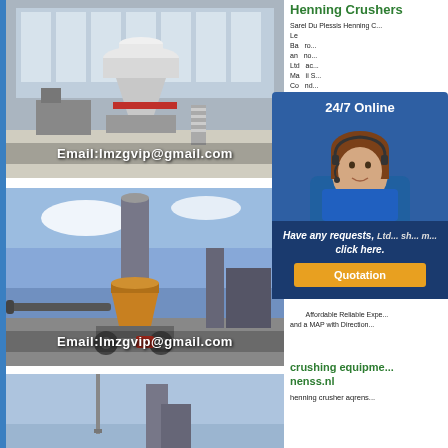[Figure (photo): Industrial cone crusher machine in a large factory/warehouse interior with Email:lmzgvip@gmail.com overlay]
Henning Crushers
Sarel Du Plessis Henning C... Learn More. Development ... Ba... ro... an... no... Ltd... ac... Ma... ii S... Co... nd... Su... nt...
[Figure (photo): Customer service agent with headset - chat widget with 24/7 Online header, Have any requests, click here. text and Quotation button]
[Figure (photo): Industrial vertical crusher/mill machine outdoors with blue sky and Email:lmzgvip@gmail.com overlay]
Affordable Reliable Expe... and a MAP with Direction...
[Figure (photo): Third industrial crusher machine photo, partially visible]
crushing equipme... nenss.nl
henning crusher aqrens...